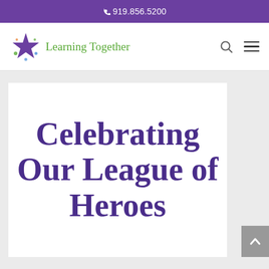919.856.5200
[Figure (logo): Learning Together logo with purple star and green text]
Celebrating Our League of Heroes